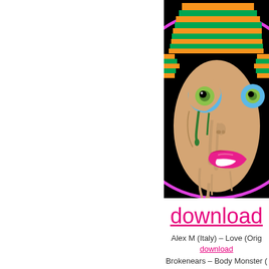[Figure (illustration): Psychedelic illustration of a melting face with green and orange striped hair, large green eyes, and hot pink lips on a black background, framed by a magenta circle border — album artwork.]
download
Alex M (Italy) – Love (Orig
download
Brokenears – Body Monster (
download
Brokenears – Discone (Ori